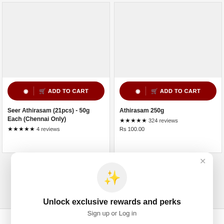[Figure (screenshot): E-commerce product card: Seer Athirasam (21pcs) - 50g Each (Chennai Only), 4 reviews, with Add to Cart button]
Seer Athirasam (21pcs) - 50g Each (Chennai Only)
4 reviews
[Figure (screenshot): E-commerce product card: Athirasam 250g, 324 reviews, Rs 100.00, with Add to Cart button]
Athirasam 250g
324 reviews
Rs 100.00
Unlock exclusive rewards and perks
Sign up or Log in
Sign up
Already have an account? Sign in
CATEGORIES   CHAT WITH US   PHONE ORDERS   LOGIN